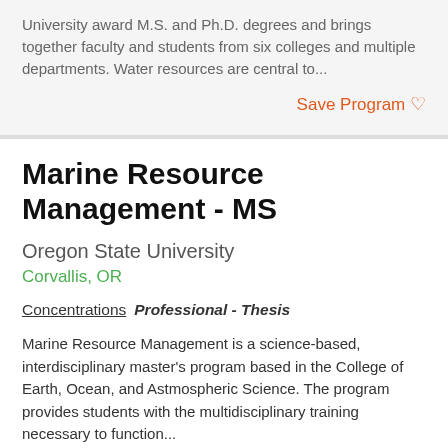University award M.S. and Ph.D. degrees and brings together faculty and students from six colleges and multiple departments. Water resources are central to...
Save Program ♡
Marine Resource Management - MS
Oregon State University
Corvallis, OR
Concentrations  Professional - Thesis
Marine Resource Management is a science-based, interdisciplinary master's program based in the College of Earth, Ocean, and Astmospheric Science. The program provides students with the multidisciplinary training necessary to function...
Save Program ♡